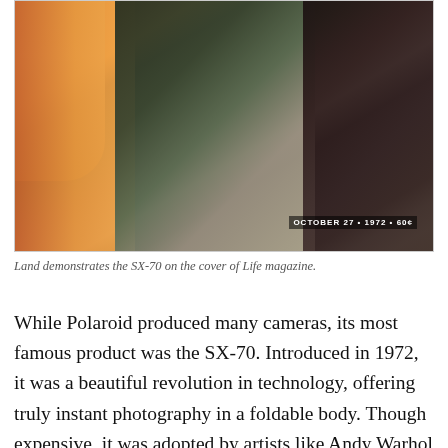[Figure (photo): A Life magazine cover from October 27, 1972, showing Land demonstrating the SX-70 camera. The image shows people with colorful clothing against a dark background, with a magazine cover text overlay reading 'OCTOBER 27 • 1972 • 60¢'.]
Land demonstrates the SX-70 on the cover of Life magazine.
While Polaroid produced many cameras, its most famous product was the SX-70. Introduced in 1972, it was a beautiful revolution in technology, offering truly instant photography in a foldable body. Though expensive, it was adopted by artists like Andy Warhol and by the general public. Every detail was overseen by Land, like Jobs did with the iPhone. It was also the last major innovation from Polaroid, the company content with